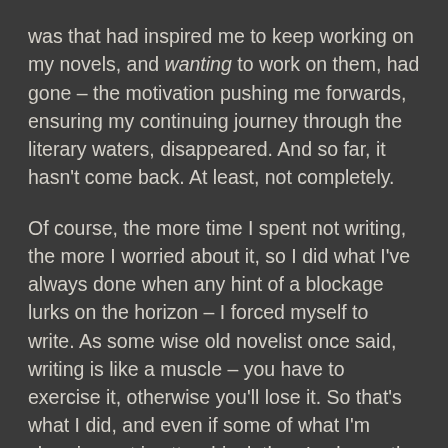was that had inspired me to keep working on my novels, and wanting to work on them, had gone – the motivation pushing me forwards, ensuring my continuing journey through the literary waters, disappeared. And so far, it hasn't come back. At least, not completely.
Of course, the more time I spent not writing, the more I worried about it, so I did what I've always done when any hint of a blockage lurks on the horizon – I forced myself to write. As some wise old novelist once said, writing is like a muscle – you have to exercise it, otherwise you'll lose it. So that's what I did, and even if some of what I'm churning out is utter drivel, there's always the thrill of re-writing.
Though I don't know exactly what it is that's changed, I know something has. Maybe in another three months it'll work itself out, but until then, I'll do what the British always